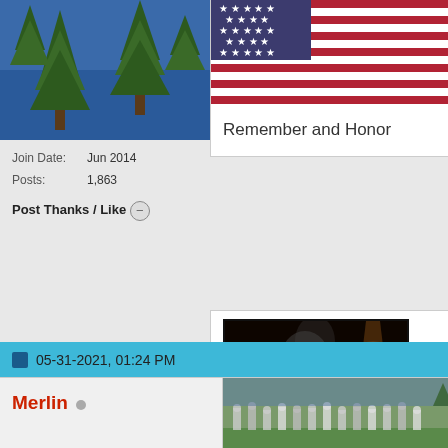[Figure (photo): Avatar image showing pine tree branches against blue sky/water]
Join Date: Jun 2014
Posts: 1,863
Post Thanks / Like
[Figure (photo): American flag with stars and red/white stripes]
Remember and Honor
[Figure (photo): Wizard/Merlin figure with long white beard surrounded by books and mystical objects]
Merlin
AMiracleDetailing.com
Facebook - YouTube - Instagram
05-31-2021, 01:24 PM
Merlin